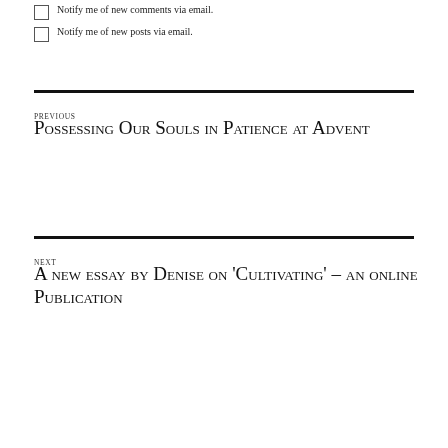Notify me of new comments via email.
Notify me of new posts via email.
PREVIOUS
Possessing Our Souls in Patience at Advent
NEXT
A new essay by Denise on 'Cultivating' – an online Publication